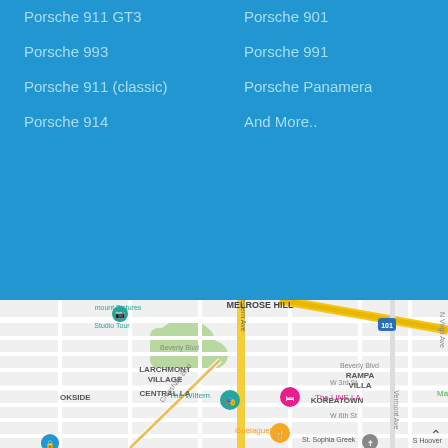Porsche 911 GT3
Porsche 993
Porsche 911 (classic)
Porsche 914
Porsche 901
Porsche 991
Porsche Panamera
And More..
[Figure (map): Google Maps view of Central LA / Koreatown area showing Western Ave, Beverly Blvd, Larchmont Village, Koreatown, W 3rd St, W 8th St, Crenshaw Blvd, Vermont Ave, S Hoover, with pins for The Wiltern, The LINE LA, Guelaguetza, St. Sophia Greek Cathedral, and Paramount Pictures Studio Tour. Route 101 is visible in upper right.]